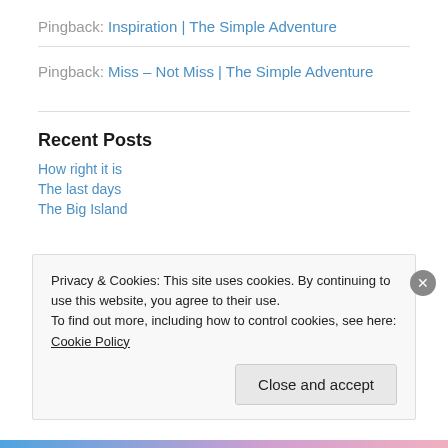Pingback: Inspiration | The Simple Adventure
Pingback: Miss – Not Miss | The Simple Adventure
Recent Posts
How right it is
The last days
The Big Island
Privacy & Cookies: This site uses cookies. By continuing to use this website, you agree to their use. To find out more, including how to control cookies, see here: Cookie Policy
Close and accept